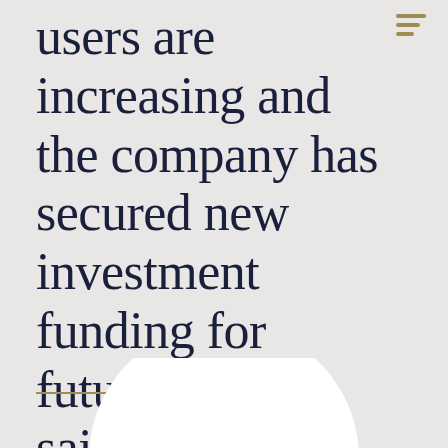users are increasing and the company has secured new investment funding for future projects, said Sulinski, 26.
[Figure (logo): Partial circular white background with a stylized logo mark in olive/gold and dark green colors, partially visible at bottom of page]